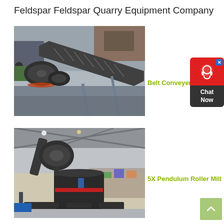Feldspar Feldspar Quarry Equipment Company
[Figure (photo): Industrial belt conveyer equipment laid out in a factory/warehouse setting, showing large rubber conveyor belts with chevron pattern]
Belt Conveyer
[Figure (photo): 5X Pendulum Roller Mill machine in an industrial factory floor setting, large dark-colored milling equipment]
5X Pendulum Roller Mill